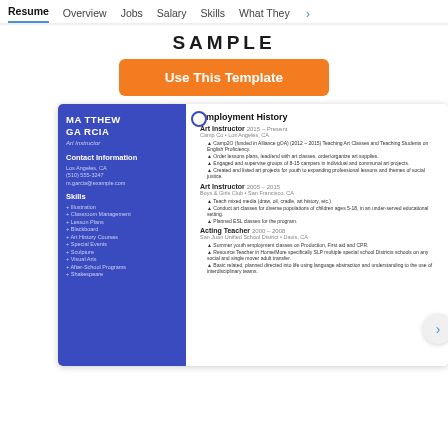Resume | Overview | Jobs | Salary | Skills | What They
SAMPLE
Use This Template
[Figure (screenshot): Resume sample preview showing Matthew Garcia's Art Instructor resume with blue sidebar containing contact info and skills, and white content area showing employment history with multiple positions including Art Instructor and Acting Teacher roles.]